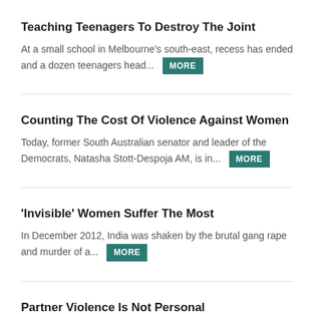Teaching Teenagers To Destroy The Joint
At a small school in Melbourne's south-east, recess has ended and a dozen teenagers head...
Counting The Cost Of Violence Against Women
Today, former South Australian senator and leader of the Democrats, Natasha Stott-Despoja AM, is in...
'Invisible' Women Suffer The Most
In December 2012, India was shaken by the brutal gang rape and murder of a...
Partner Violence Is Not Personal